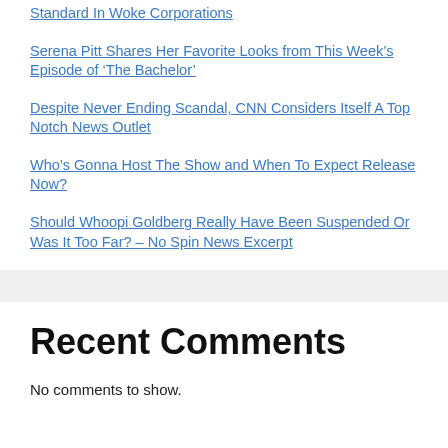Standard In Woke Corporations
Serena Pitt Shares Her Favorite Looks from This Week’s Episode of ‘The Bachelor’
Despite Never Ending Scandal, CNN Considers Itself A Top Notch News Outlet
Who’s Gonna Host The Show and When To Expect Release Now?
Should Whoopi Goldberg Really Have Been Suspended Or Was It Too Far? – No Spin News Excerpt
Recent Comments
No comments to show.